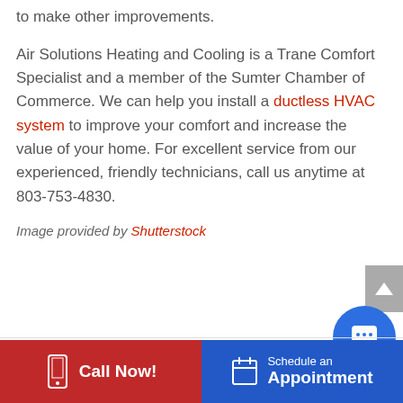to make other improvements.
Air Solutions Heating and Cooling is a Trane Comfort Specialist and a member of the Sumter Chamber of Commerce. We can help you install a ductless HVAC system to improve your comfort and increase the value of your home. For excellent service from our experienced, friendly technicians, call us anytime at 803-753-4830.
Image provided by Shutterstock
[Figure (other): Scroll-to-top button (grey arrow button) on right side]
[Figure (other): Blue circular chat bubble icon button]
Call Now!
Schedule an Appointment